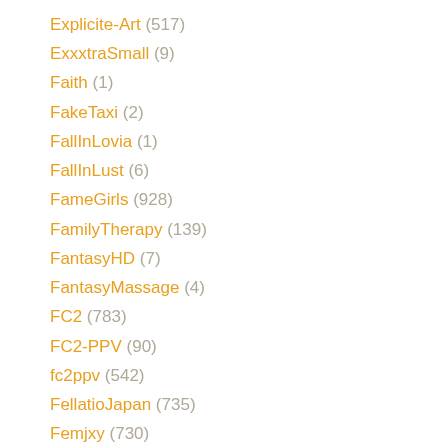Explicite-Art (517)
ExxxtraSmall (9)
Faith (1)
FakeTaxi (2)
FallInLovia (1)
FallInLust (6)
FameGirls (928)
FamilyTherapy (139)
FantasyHD (7)
FantasyMassage (4)
FC2 (783)
FC2-PPV (90)
fc2ppv (542)
FellatioJapan (735)
Femjxy (730)